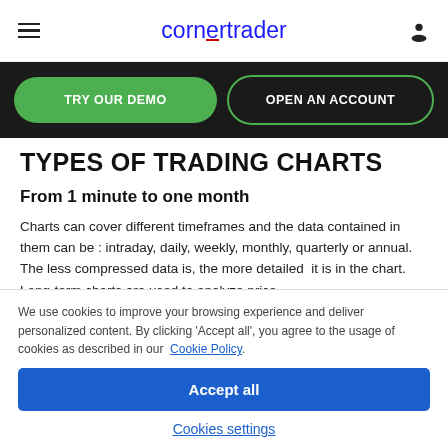cornertrader
[Figure (screenshot): Black navigation bar with two buttons: 'TRY OUR DEMO' (green filled) and 'OPEN AN ACCOUNT' (dark with green border)]
TYPES OF TRADING CHARTS
From 1 minute to one month
Charts can cover different timeframes and the data contained in them can be : intraday, daily, weekly, monthly, quarterly or annual. The less compressed data is, the more detailed  it is in the chart. Long-term charts are used to analyze price
We use cookies to improve your browsing experience and deliver personalized content. By clicking 'Accept all', you agree to the usage of cookies as described in our Cookie Policy.
Accept all
Cookies settings